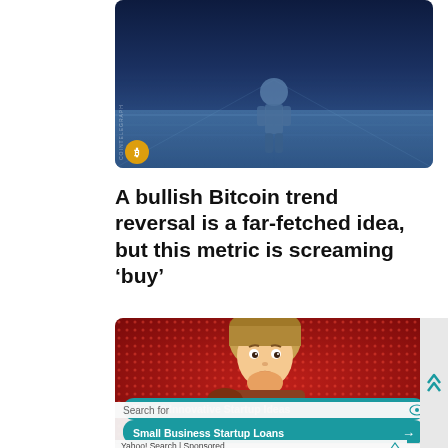[Figure (illustration): Top portion of a Cointelegraph article illustration showing a figure in a blue-toned arena/boxing ring setting with Cointelegraph watermark and coin logo in corner]
A bullish Bitcoin trend reversal is a far-fetched idea, but this metric is screaming ‘buy’
[Figure (illustration): Advertisement image showing an animated young man thinking/pondering with hand on chin against a red dotted background, with Yahoo Search sponsored links for 'Top 10 Innovative Startup Ideas' and 'Small Business Startup Loans']